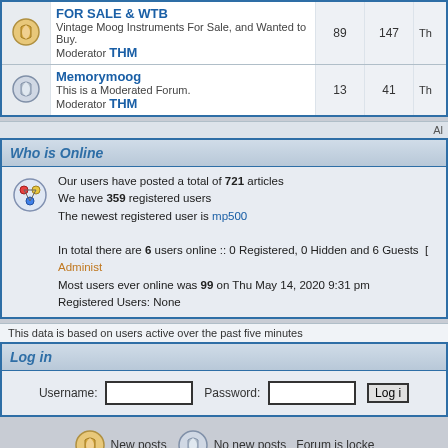|  | Forum | Topics | Posts | Last Post |
| --- | --- | --- | --- | --- |
| [icon] | FOR SALE & WTB
Vintage Moog Instruments For Sale, and Wanted to Buy.
Moderator THM | 89 | 147 | Th |
| [icon] | Memorymoog
This is a Moderated Forum.
Moderator THM | 13 | 41 | Th |
Al
Who is Online
Our users have posted a total of 721 articles
We have 359 registered users
The newest registered user is mp500
In total there are 6 users online :: 0 Registered, 0 Hidden and 6 Guests  [ Administ
Most users ever online was 99 on Thu May 14, 2020 9:31 pm
Registered Users: None
This data is based on users active over the past five minutes
Log in
Username: [input] Password: [input] Log in
New posts   No new posts   Forum is locke
Powered by phpBB © 2001, 2005 phpBB Group